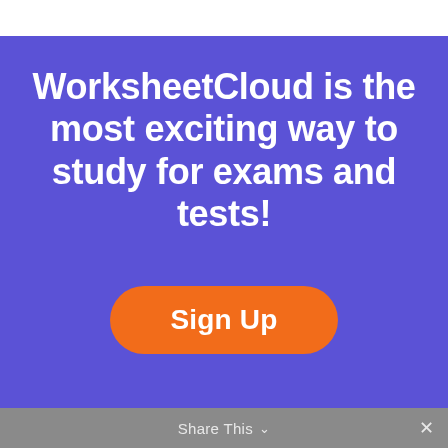WorksheetCloud is the most exciting way to study for exams and tests!
Sign Up
Share This ∨  ✕